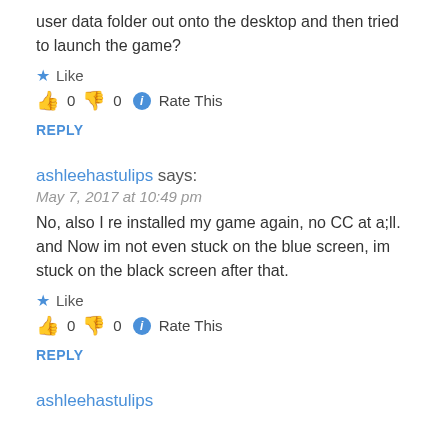user data folder out onto the desktop and then tried to launch the game?
★ Like
👍 0 👎 0 ⓘ Rate This
REPLY
ashleehastulips says:
May 7, 2017 at 10:49 pm
No, also I re installed my game again, no CC at a;ll. and Now im not even stuck on the blue screen, im stuck on the black screen after that.
★ Like
👍 0 👎 0 ⓘ Rate This
REPLY
ashleehastulips